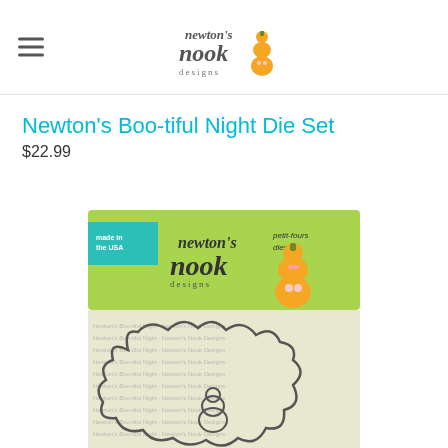Newton's Nook Designs logo and navigation
Newton's Boo-tiful Night Die Set
$22.99
[Figure (photo): Product packaging image showing Newton's Nook Designs die set with green background and an orange cat character on packaging, with die cuts visible below]